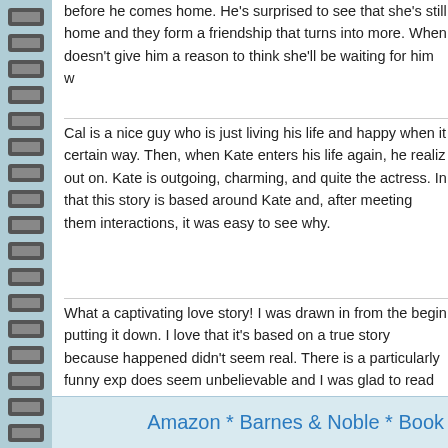before he comes home. He's surprised to see that she's still home and they form a friendship that turns into more. When doesn't give him a reason to think she'll be waiting for him w
Cal is a nice guy who is just living his life and happy when it certain way. Then, when Kate enters his life again, he realiz out on. Kate is outgoing, charming, and quite the actress. In that this story is based around Kate and, after meeting them interactions, it was easy to see why.
What a captivating love story! I was drawn in from the begin putting it down. I love that it's based on a true story because happened didn't seem real. There is a particularly funny exp does seem unbelievable and I was glad to read at the end t did happen. There are some tough war scenes which are so hard to read at times, but also gave great perspective into th so much to love about this novel! This is the first book this a looking forward to reading what she comes up with next!
Amazon * Barnes & Noble * Book